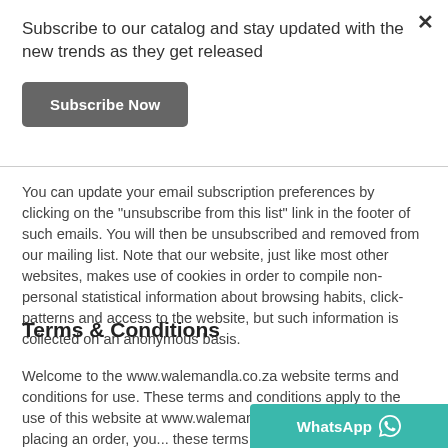Subscribe to our catalog and stay updated with the new trends as they get released
Subscribe Now
You can update your email subscription preferences by clicking on the "unsubscribe from this list" link in the footer of such emails. You will then be unsubscribed and removed from our mailing list. Note that our website, just like most other websites, makes use of cookies in order to compile non-personal statistical information about browsing habits, click-patterns and access to the website, but such information is collected on an anonymous basis.
Terms & Conditions
Welcome to the www.walemandla.co.za website terms and conditions for use. These terms and conditions apply to the use of this website at www.walemandla... this website and/or placing an order, you... these terms and conditions. Using this website indicates that